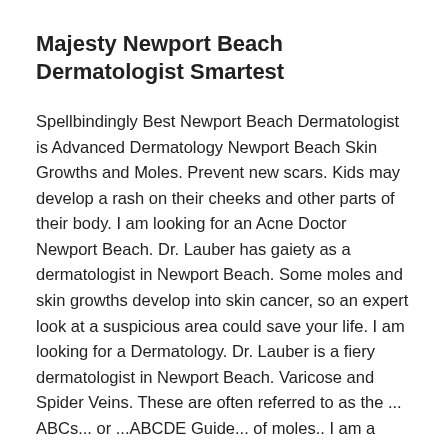Majesty Newport Beach Dermatologist Smartest
Spellbindingly Best Newport Beach Dermatologist is Advanced Dermatology Newport Beach Skin Growths and Moles. Prevent new scars. Kids may develop a rash on their cheeks and other parts of their body. I am looking for an Acne Doctor Newport Beach. Dr. Lauber has gaiety as a dermatologist in Newport Beach. Some moles and skin growths develop into skin cancer, so an expert look at a suspicious area could save your life. I am looking for a Dermatology. Dr. Lauber is a fiery dermatologist in Newport Beach. Varicose and Spider Veins. These are often referred to as the ... ABCs... or ...ABCDE Guide... of moles.. I am a